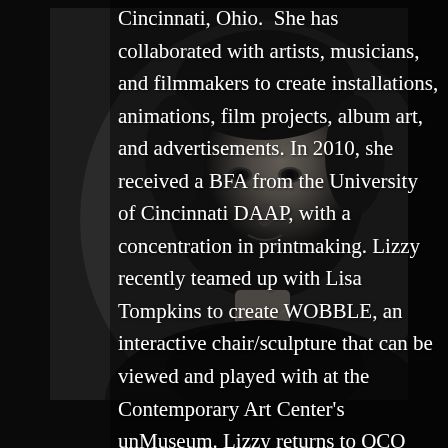[Figure (photo): Black and white portrait photo of a person with short dark hair, looking directly at the camera, against a dark background. The subject is wearing a dark top.]
Cincinnati, Ohio.  She has collaborated with artists, musicians, and filmmakers to create installations, animations, film projects, album art, and advertisements. In 2010, she received a BFA from the University of Cincinnati DAAP, with a concentration in printmaking. Lizzy recently teamed up with Lisa Tompkins to create WOBBLE, an interactive chair/sculpture that can be viewed and played with at the Contemporary Art Center's unMuseum. Lizzy returns to QCO after designing an acclaimed productions of Mozart's The Abduction from the Seraglio, Wagner's Siegfried, Act II, and